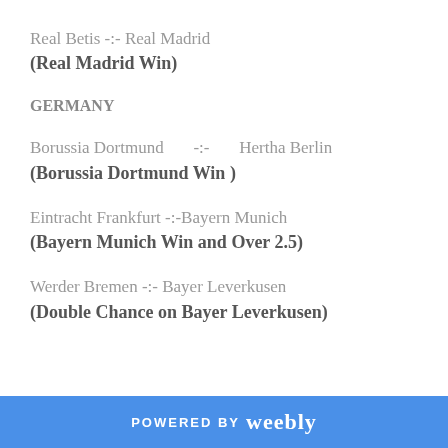Real Betis -:- Real Madrid
(Real Madrid Win)
GERMANY
Borussia Dortmund      -:-      Hertha Berlin
(Borussia Dortmund Win )
Eintracht Frankfurt -:-Bayern Munich
(Bayern Munich Win and Over 2.5)
Werder Bremen -:- Bayer Leverkusen
(Double Chance on Bayer Leverkusen)
POWERED BY weebly